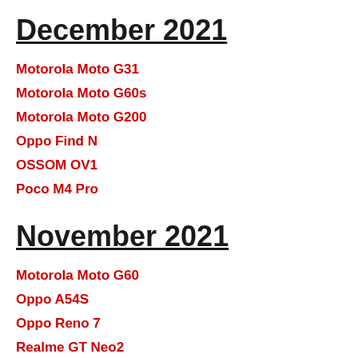December 2021
Motorola Moto G31
Motorola Moto G60s
Motorola Moto G200
Oppo Find N
OSSOM OV1
Poco M4 Pro
November 2021
Motorola Moto G60
Oppo A54S
Oppo Reno 7
Realme GT Neo2
Samsung Galaxy A03S
Samsung Galaxy M22